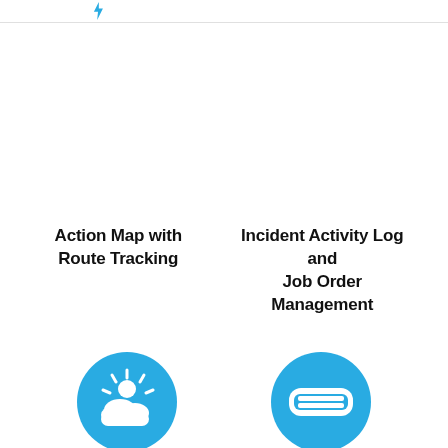[Figure (logo): Blue lightning bolt icon in top header area]
Action Map with Route Tracking
Incident Activity Log and Job Order Management
[Figure (illustration): Blue circle icon with white sun and cloud symbol]
[Figure (illustration): Blue circle icon with white horizontal bars/credit card symbol]